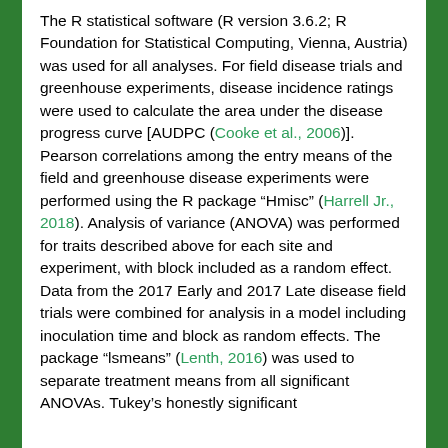The R statistical software (R version 3.6.2; R Foundation for Statistical Computing, Vienna, Austria) was used for all analyses. For field disease trials and greenhouse experiments, disease incidence ratings were used to calculate the area under the disease progress curve [AUDPC (Cooke et al., 2006)]. Pearson correlations among the entry means of the field and greenhouse disease experiments were performed using the R package “Hmisc” (Harrell Jr., 2018). Analysis of variance (ANOVA) was performed for traits described above for each site and experiment, with block included as a random effect. Data from the 2017 Early and 2017 Late disease field trials were combined for analysis in a model including inoculation time and block as random effects. The package “lsmeans” (Lenth, 2016) was used to separate treatment means from all significant ANOVAs. Tukey’s honestly significant